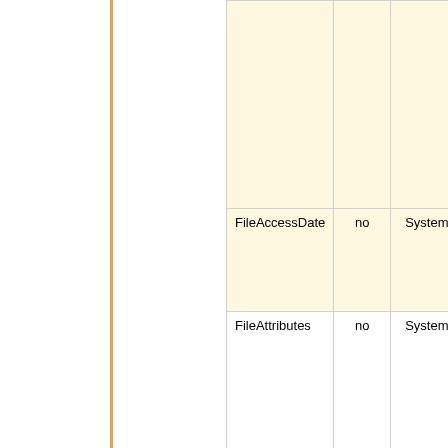| Tag Name | Writable | Group | Notes |
| --- | --- | --- | --- |
|  |  |  | 'll' = Little-endian (In...
'MM' = Big-endian
(Motorola, MM) |
| FileAccessDate | no | System | (the date/time of last access of the file. No this access time is u whenever any softwa including ExifTool, re the file) |
| FileAttributes | no | System | (extracted only if specifically requeste the SystemTags or RequestAll API optic set. 2 or 3 values: 0. type, 1. Attribute bits Windows attribute bi Win32API::File is available)
[Value 0]
  0x0 =    0x8000...
  Unknown  Regula...
  0x1000 = 0x9000... |